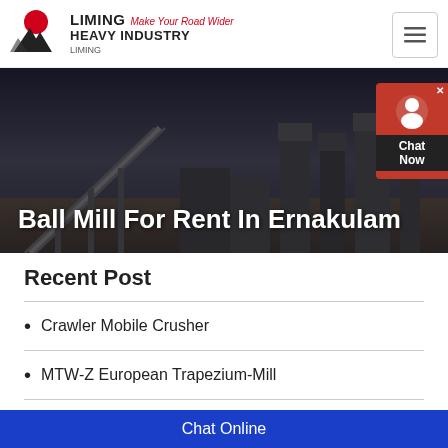[Figure (logo): Liming Heavy Industry logo with red circle and black mountain/triangle shapes, text LIMING HEAVY INDUSTRY with tagline Make Your Road Wider]
[Figure (photo): Industrial mining/crushing plant machinery at dusk or night, with conveyor belts and heavy equipment silhouetted against a dark sky]
Ball Mill For Rent In Ernakulam
Recent Post
Crawler Mobile Crusher
MTW-Z European Trapezium-Mill
K Series Mobile Crushing Plant
Chat Online